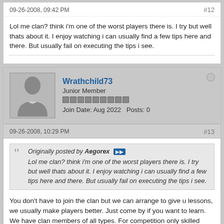09-26-2008, 09:42 PM  #12
Lol me clan? think i'm one of the worst players there is. I try but well thats about it. I enjoy watching i can usually find a few tips here and there. But usually fail on executing the tips i see.
Wrathchild73
Junior Member
Join Date: Aug 2022   Posts: 0
09-26-2008, 10:29 PM  #13
Originally posted by Aegorex
Lol me clan? think i'm one of the worst players there is. I try but well thats about it. I enjoy watching i can usually find a few tips here and there. But usually fail on executing the tips i see.
You don't have to join the clan but we can arrange to give u lessons, we usually make players better. Just come by if you want to learn. We have clan members of all types. For competition only skilled players are recruited but we also just have guys that like to hang out and